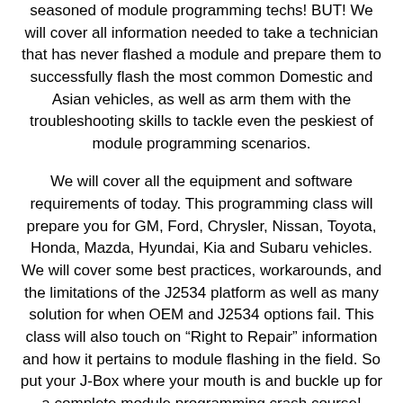seasoned of module programming techs! BUT! We will cover all information needed to take a technician that has never flashed a module and prepare them to successfully flash the most common Domestic and Asian vehicles, as well as arm them with the troubleshooting skills to tackle even the peskiest of module programming scenarios.
We will cover all the equipment and software requirements of today. This programming class will prepare you for GM, Ford, Chrysler, Nissan, Toyota, Honda, Mazda, Hyundai, Kia and Subaru vehicles. We will cover some best practices, workarounds, and the limitations of the J2534 platform as well as many solution for when OEM and J2534 options fail. This class will also touch on “Right to Repair” information and how it pertains to module flashing in the field. So put your J-Box where your mouth is and buckle up for a complete module programming crash course!